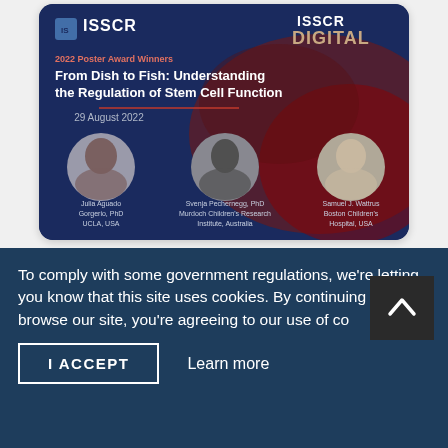[Figure (screenshot): ISSCR Digital 2022 Poster Award Winners tweet card showing 'From Dish to Fish: Understanding the Regulation of Stem Cell Function' dated 29 August 2022, with photos of Julia Aguado Gorgerio PhD (UCLA, USA), Svenja Pecherngg PhD (Murdoch Children's Research Institute, Australia), and Samuel J. Wattrus (Boston Children's Hospital, USA)]
View More Tweets
ISSCR 2019 News
To comply with some government regulations, we're letting you know that this site uses cookies. By continuing to browse our site, you're agreeing to our use of co...
I ACCEPT
Learn more